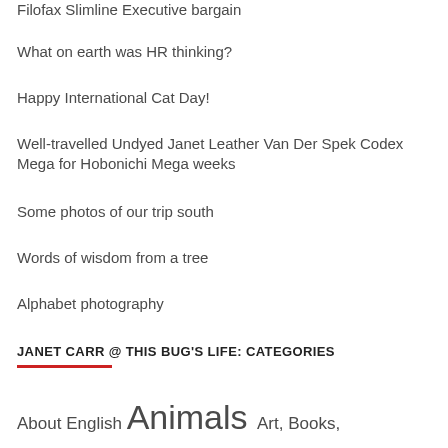Filofax Slimline Executive bargain
What on earth was HR thinking?
Happy International Cat Day!
Well-travelled Undyed Janet Leather Van Der Spek Codex Mega for Hobonichi Mega weeks
Some photos of our trip south
Words of wisdom from a tree
Alphabet photography
JANET CARR @ THIS BUG'S LIFE: CATEGORIES
About English Animals Art, Books,